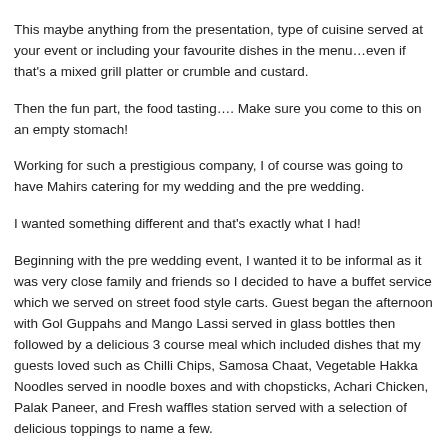families to discuss what's important to you and suggest ideas to make your Big Day unique.
This maybe anything from the presentation, type of cuisine served at your event or including your favourite dishes in the menu…even if that's a mixed grill platter or crumble and custard.
Then the fun part, the food tasting…. Make sure you come to this on an empty stomach!
Working for such a prestigious company, I of course was going to have Mahirs catering for my wedding and the pre wedding.
I wanted something different and that's exactly what I had!
Beginning with the pre wedding event, I wanted it to be informal as it was very close family and friends so I decided to have a buffet service which we served on street food style carts. Guest began the afternoon with Gol Guppahs and Mango Lassi served in glass bottles then followed by a delicious 3 course meal which included dishes that my guests loved such as Chilli Chips, Samosa Chaat, Vegetable Hakka Noodles served in noodle boxes and with chopsticks, Achari Chicken, Palak Paneer, and Fresh waffles station served with a selection of delicious toppings to name a few.
Fast forwarding to the wedding day and I wanted to include items in the menu that my family and I enjoy eating and also menu items that would be unique.